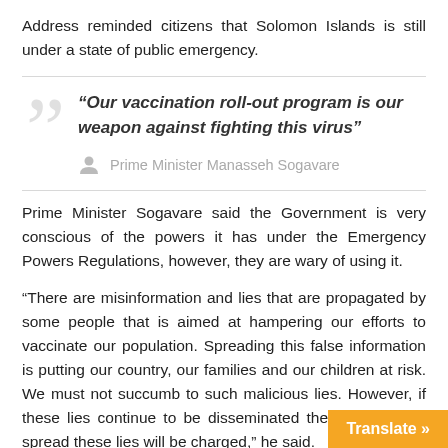Address reminded citizens that Solomon Islands is still under a state of public emergency.
“Our vaccination roll-out program is our weapon against fighting this virus”
Prime Minister Manasseh Sogavare
Prime Minister Sogavare said the Government is very conscious of the powers it has under the Emergency Powers Regulations, however, they are wary of using it.
“There are misinformation and lies that are propagated by some people that is aimed at hampering our efforts to vaccinate our population. Spreading this false information is putting our country, our families and our children at risk. We must not succumb to such malicious lies. However, if these lies continue to be disseminated then people who spread these lies will be charged,” he said.
The Prime Minister cautioned that we complacent and let our guards down.